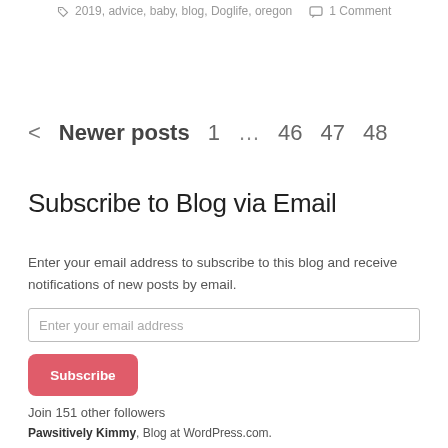2019, advice, baby, blog, Doglife, oregon   1 Comment
< Newer posts   1   …   46   47   48
Subscribe to Blog via Email
Enter your email address to subscribe to this blog and receive notifications of new posts by email.
Enter your email address
Subscribe
Join 151 other followers
Pawsitively Kimmy, Blog at WordPress.com.